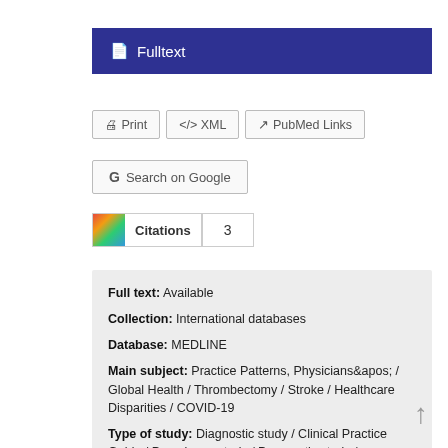Fulltext
Print   XML   PubMed Links
Search on Google
Citations   3
Full text: Available
Collection: International databases
Database: MEDLINE
Main subject: Practice Patterns, Physicians&apos; / Global Health / Thrombectomy / Stroke / Healthcare Disparities / COVID-19
Type of study: Diagnostic study / Clinical Practice Guide / Prevalence study / Prognostic study / Randomized controlled trials / Risk factors
Limits: Humans